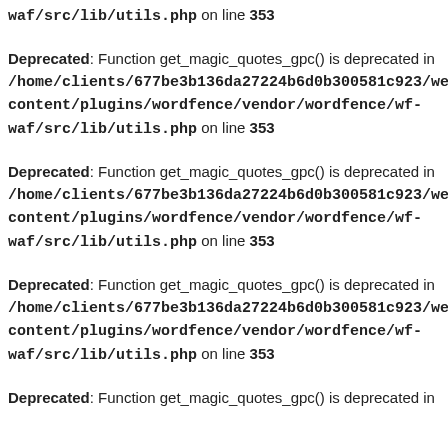waf/src/lib/utils.php on line 353
Deprecated: Function get_magic_quotes_gpc() is deprecated in /home/clients/677be3b136da27224b6d0b300581c923/web/content/plugins/wordfence/vendor/wordfence/wf-waf/src/lib/utils.php on line 353
Deprecated: Function get_magic_quotes_gpc() is deprecated in /home/clients/677be3b136da27224b6d0b300581c923/web/content/plugins/wordfence/vendor/wordfence/wf-waf/src/lib/utils.php on line 353
Deprecated: Function get_magic_quotes_gpc() is deprecated in /home/clients/677be3b136da27224b6d0b300581c923/web/content/plugins/wordfence/vendor/wordfence/wf-waf/src/lib/utils.php on line 353
Deprecated: Function get_magic_quotes_gpc() is deprecated in